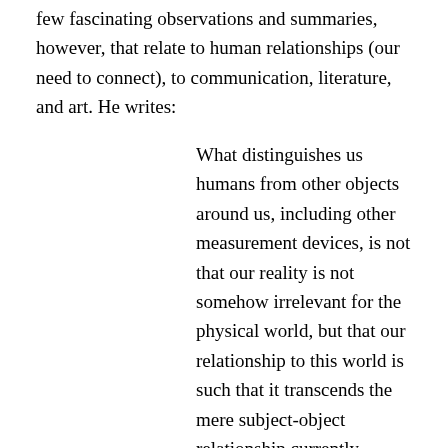few fascinating observations and summaries, however, that relate to human relationships (our need to connect), to communication, literature, and art. He writes:
What distinguishes us humans from other objects around us, including other measurement devices, is not that our reality is not somehow irrelevant for the physical world, but that our relationship to this world is such that it transcends the mere subject-object relationship currently envisioned by the physicist.
Reality=relationship to others and the world. That's a contemporary way of interpreting Aquinas. I've never before thought of myself as a Thomist, and the very idea makes me giggle. But as a writer, especially as a poet, the relationships and connections in the physical world are the